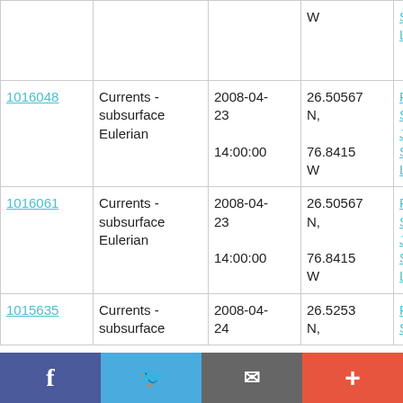| ID | Type | Date | Location | Cruise |
| --- | --- | --- | --- | --- |
|  |  |  | W | SJ-08-03
Leg 2 |
| 1016048 | Currents - subsurface Eulerian | 2008-04-23
14:00:00 | 26.50567 N,
76.8415 W | RV Seward Johnson
SJ-08-03
Leg 2 |
| 1016061 | Currents - subsurface Eulerian | 2008-04-23
14:00:00 | 26.50567 N,
76.8415 W | RV Seward Johnson
SJ-08-03
Leg 2 |
| 1015635 | Currents - subsurface | 2008-04-24 | 26.5253 N, | RV Seward |
Facebook | Twitter | Email | +